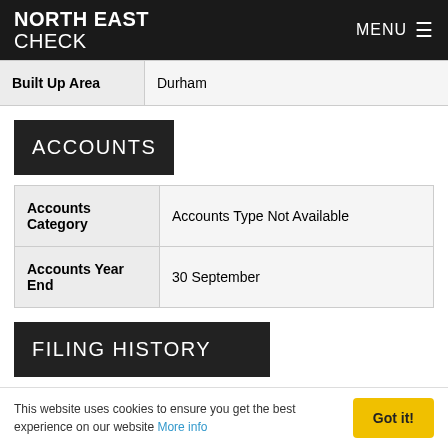NORTH EAST CHECK | MENU
| Built Up Area |  |
| --- | --- |
| Built Up Area | Durham |
ACCOUNTS
| Accounts Category | Accounts Type Not Available |
| --- | --- |
| Accounts Category | Accounts Type Not Available |
| Accounts Year End | 30 September |
FILING HISTORY
This website uses cookies to ensure you get the best experience on our website More info